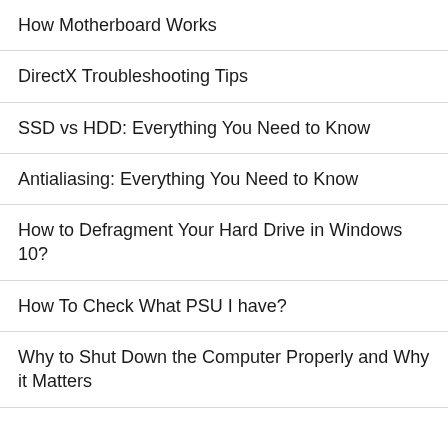How Motherboard Works
DirectX Troubleshooting Tips
SSD vs HDD: Everything You Need to Know
Antialiasing: Everything You Need to Know
How to Defragment Your Hard Drive in Windows 10?
How To Check What PSU I have?
Why to Shut Down the Computer Properly and Why it Matters